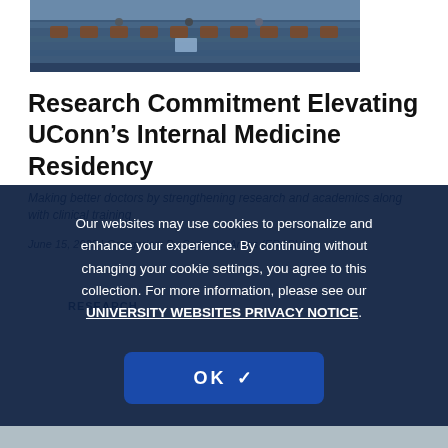[Figure (photo): Photo of a lecture hall or classroom with people seated at tiered desks, viewed from the front]
Research Commitment Elevating UConn’s Internal Medicine Residency
Making better doctors by strengthening research and academics along with clinical training
June 15, 2022 | Categories: By Specialty Areas (ERAS)
RESEARCH
Our websites may use cookies to personalize and enhance your experience. By continuing without changing your cookie settings, you agree to this collection. For more information, please see our UNIVERSITY WEBSITES PRIVACY NOTICE.
OK